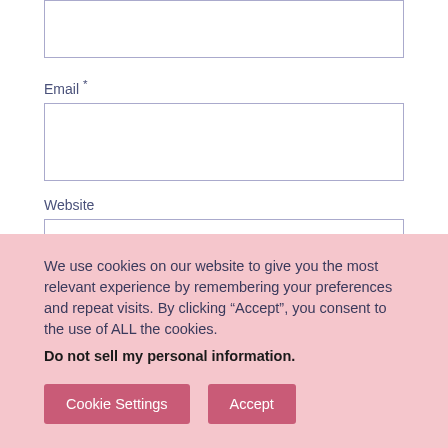(top input box — partially visible, no label)
Email *
Website
Notify me of follow-up comments by email.
Notify me of new posts by email.
We use cookies on our website to give you the most relevant experience by remembering your preferences and repeat visits. By clicking “Accept”, you consent to the use of ALL the cookies.
Do not sell my personal information.
Cookie Settings
Accept